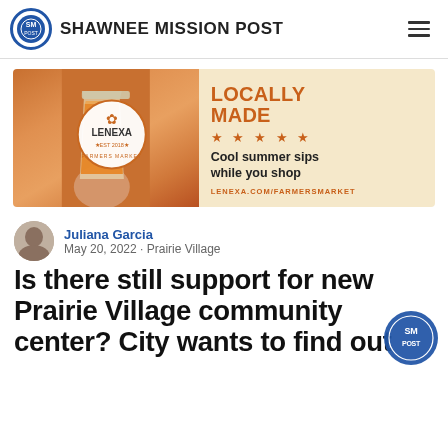SHAWNEE MISSION POST
[Figure (illustration): Lenexa Farmers Market advertisement banner showing a smoothie drink, the Lenexa Farmers Market circular logo (Est 2018), text: LOCALLY MADE ★★★★★ Cool summer sips while you shop, lenexa.com/farmersmarket]
Juliana Garcia
May 20, 2022 · Prairie Village
Is there still support for new Prairie Village community center? City wants to find out